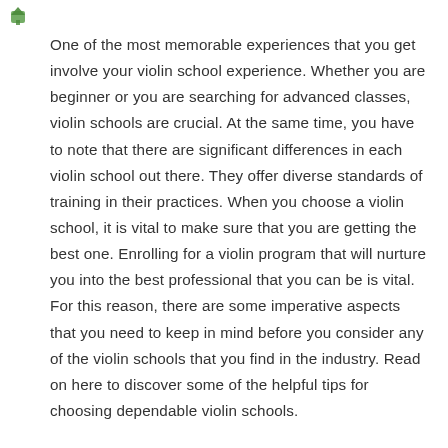[Figure (illustration): Small green icon, appears to be a leaf or similar decorative element in the top-left corner]
One of the most memorable experiences that you get involve your violin school experience. Whether you are beginner or you are searching for advanced classes, violin schools are crucial. At the same time, you have to note that there are significant differences in each violin school out there. They offer diverse standards of training in their practices. When you choose a violin school, it is vital to make sure that you are getting the best one. Enrolling for a violin program that will nurture you into the best professional that you can be is vital. For this reason, there are some imperative aspects that you need to keep in mind before you consider any of the violin schools that you find in the industry. Read on here to discover some of the helpful tips for choosing dependable violin schools.